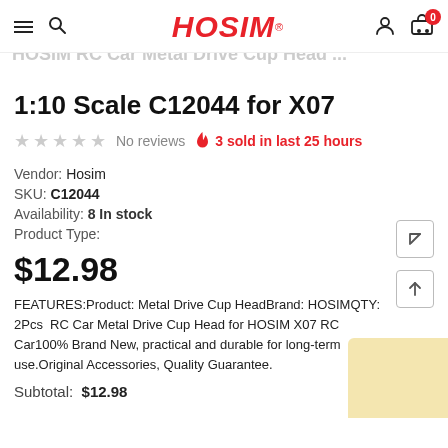HOSIM® [navigation bar with search, logo, user, cart]
1:10 Scale C12044 for X07
★ ★ ★ ★ ★  No reviews    🔥 3 sold in last 25 hours
Vendor: Hosim
SKU: C12044
Availability: 8 In stock
Product Type:
$12.98
FEATURES:Product: Metal Drive Cup HeadBrand: HOSIMQTY: 2Pcs  RC Car Metal Drive Cup Head for HOSIM X07 RC Car100% Brand New, practical and durable for long-term use.Original Accessories, Quality Guarantee.
Subtotal:  $12.98